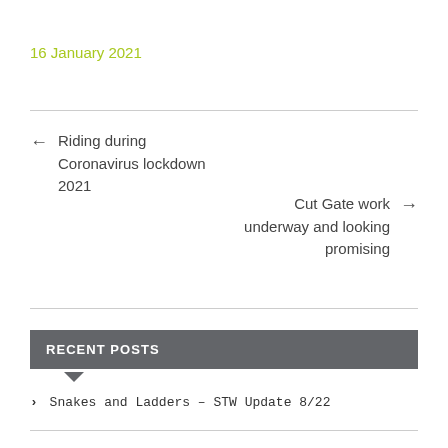16 January 2021
← Riding during Coronavirus lockdown 2021
Cut Gate work underway and looking promising →
RECENT POSTS
> Snakes and Ladders – STW Update 8/22